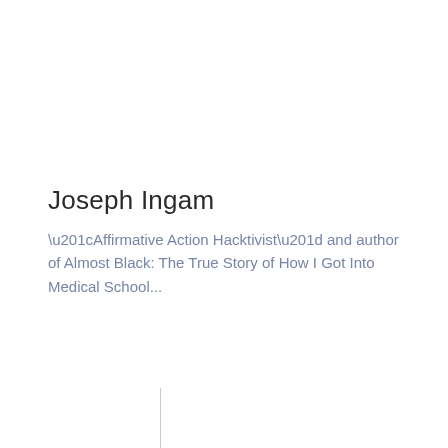Joseph Ingam
“Affirmative Action Hacktivist” and author of Almost Black: The True Story of How I Got Into Medical School...